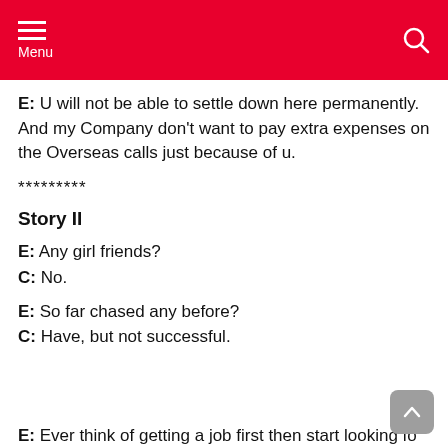Menu
E: U will not be able to settle down here permanently. And my Company don't want to pay extra expenses on the Overseas calls just because of u.
*********
Story II
E: Any girl friends?
C: No.
E: So far chased any before?
C: Have, but not successful.
E: Ever think of getting a job first then start looking for